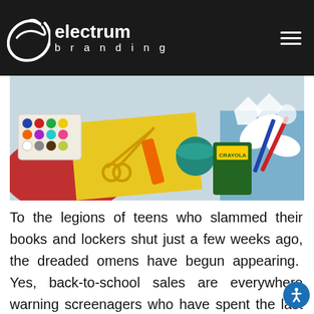electrum branding
[Figure (photo): Overhead view of colorful school/craft supplies: watercolor paint set, scissors, markers, crayons box, colored paper, pencils on a red and blue surface]
To the legions of teens who slammed their books and lockers shut just a few weeks ago, the dreaded omens have begun appearing.  Yes, back-to-school sales are everywhere warning screenagers who have spent the last 10 weeks binge watching “Riverdale,” perfecting their gaming skills while saving